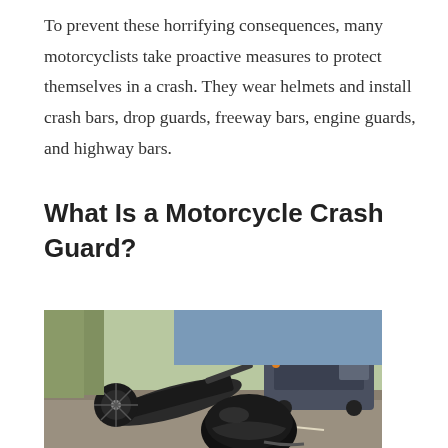To prevent these horrifying consequences, many motorcyclists take proactive measures to protect themselves in a crash. They wear helmets and install crash bars, drop guards, freeway bars, engine guards, and highway bars.
What Is a Motorcycle Crash Guard?
[Figure (photo): A crashed motorcycle lying on its side on a road with a helmet in the foreground and a car visible in the background]